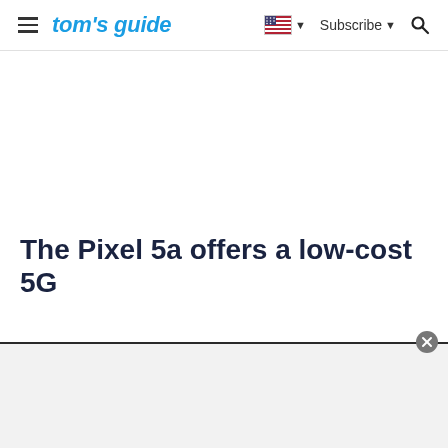tom's guide — Subscribe
The Pixel 5a offers a low-cost 5G option